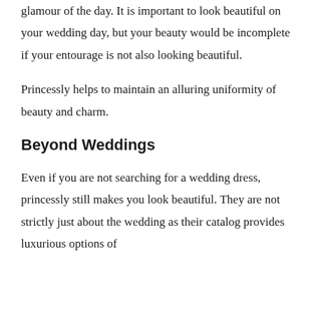glamour of the day. It is important to look beautiful on your wedding day, but your beauty would be incomplete if your entourage is not also looking beautiful.
Princessly helps to maintain an alluring uniformity of beauty and charm.
Beyond Weddings
Even if you are not searching for a wedding dress, princessly still makes you look beautiful. They are not strictly just about the wedding as their catalog provides luxurious options of